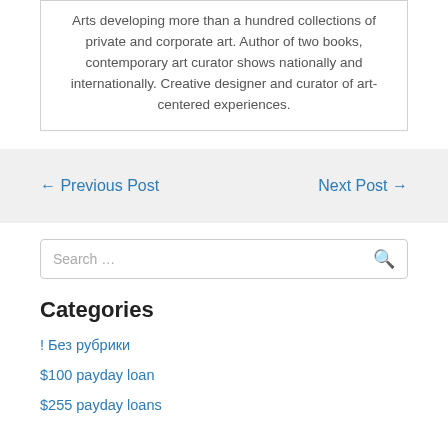Arts developing more than a hundred collections of private and corporate art. Author of two books, contemporary art curator shows nationally and internationally. Creative designer and curator of art-centered experiences.
← Previous Post
Next Post →
Search …
Categories
! Без рубрики
$100 payday loan
$255 payday loans